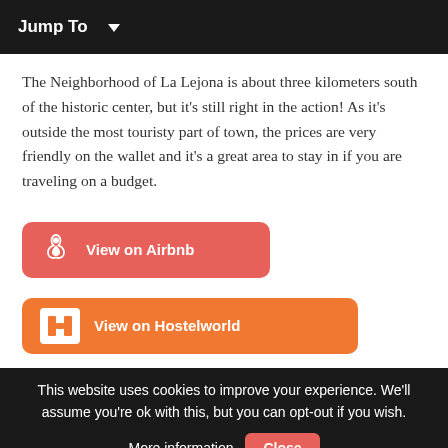Jump To
The Neighborhood of La Lejona is about three kilometers south of the historic center, but it’s still right in the action! As it’s outside the most touristy part of town, the prices are very friendly on the wallet and it’s a great area to stay in if you are traveling on a budget.
[Figure (other): Red rounded button with Airbnb logo icon and text 'View on Airbnb']
[Figure (other): Orange rounded button with Hostelworld logo icon and text 'View on Hostelworld']
This website uses cookies to improve your experience. We’ll assume you’re ok with this, but you can opt-out if you wish. More information. Close